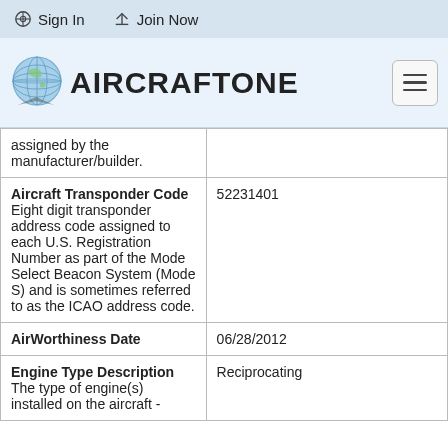Sign In   Join Now
[Figure (logo): AircraftOne logo with globe icon]
| Field | Value |
| --- | --- |
| assigned by the manufacturer/builder. |  |
| Aircraft Transponder Code
Eight digit transponder address code assigned to each U.S. Registration Number as part of the Mode Select Beacon System (Mode S) and is sometimes referred to as the ICAO address code. | 52231401 |
| AirWorthiness Date | 06/28/2012 |
| Engine Type Description
The type of engine(s) installed on the aircraft - | Reciprocating |